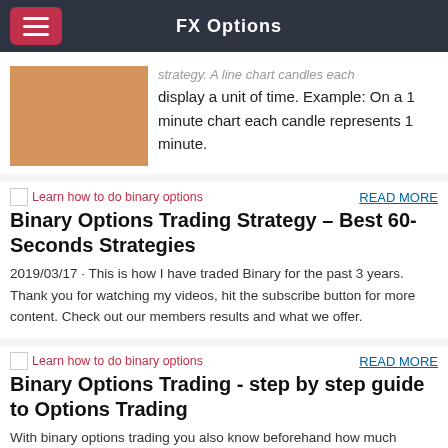FX Options
strategy. A line chart candles each display a unit of time. Example: On a 1 minute chart each candle represents 1 minute.
[Figure (photo): Learn how to do binary options - placeholder image]
READ MORE
Binary Options Trading Strategy – Best 60-Seconds Strategies
2019/03/17 · This is how I have traded Binary for the past 3 years. Thank you for watching my videos, hit the subscribe button for more content. Check out our members results and what we offer.
[Figure (photo): Learn how to do binary options - placeholder image]
READ MORE
Binary Options Trading - step by step guide to Options Trading
With binary options trading you also know beforehand how much